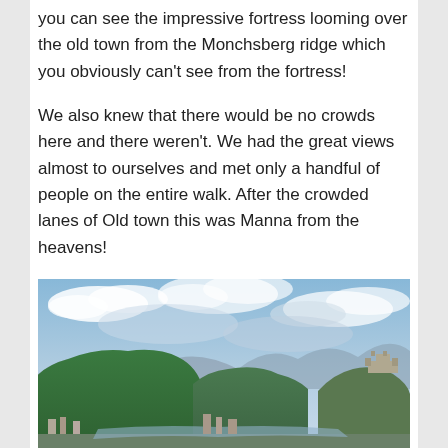you can see the impressive fortress looming over the old town from the Monchsberg ridge which you obviously can't see from the fortress!
We also knew that there would be no crowds here and there weren't. We had the great views almost to ourselves and met only a handful of people on the entire walk. After the crowded lanes of Old town this was Manna from the heavens!
[Figure (photo): Panoramic photo of Salzburg showing a green hilltop (Monchsberg) on the left and Hohensalzburg Fortress on a hill to the right, under a partly cloudy blue sky.]